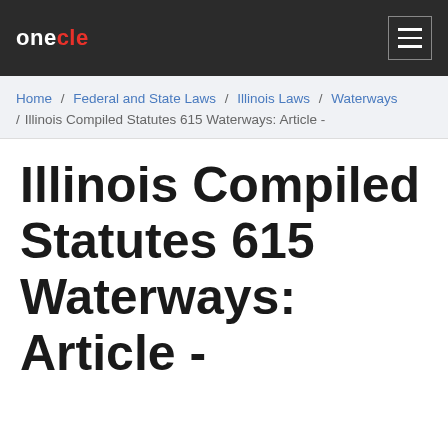onecle
Home / Federal and State Laws / Illinois Laws / Waterways / Illinois Compiled Statutes 615 Waterways: Article -
Illinois Compiled Statutes 615 Waterways: Article -